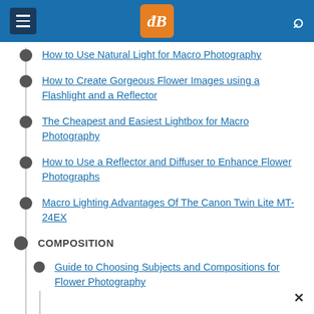dPS navigation header
How to Use Natural Light for Macro Photography
How to Create Gorgeous Flower Images using a Flashlight and a Reflector
The Cheapest and Easiest Lightbox for Macro Photography
How to Use a Reflector and Diffuser to Enhance Flower Photographs
Macro Lighting Advantages Of The Canon Twin Lite MT-24EX
COMPOSITION
Guide to Choosing Subjects and Compositions for Flower Photography